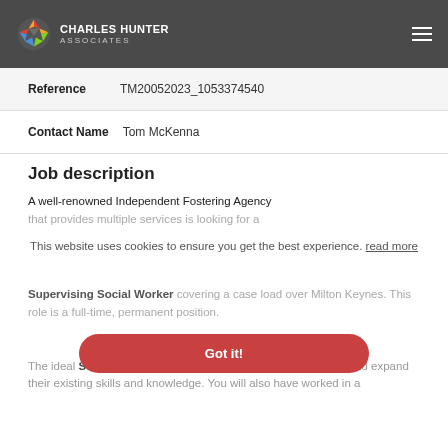CHARLES HUNTER ASSOCIATES
| Reference | TM20052023_1053374540 |
| Contact Name | Tom McKenna |
Job description
A well-renowned Independent Fostering Agency that provides multiple services is looking for a Supervising Social Worker covering a case load over Milton Keynes. This role is a full-time, permanent position.
This website uses cookies to ensure you get the best experience. read more
Got it!
The ideal Supervising Social Worker will be seeking to apply and expand their existing skills and knowledge. You will also have worked in a